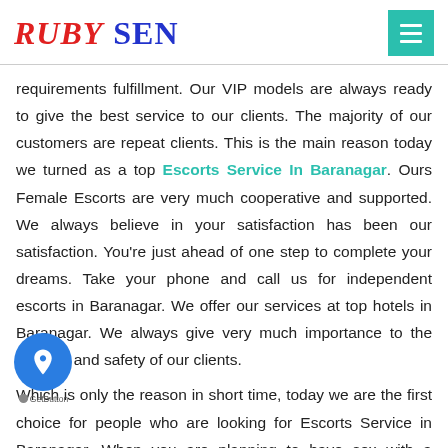RUBY SEN
requirements fulfillment. Our VIP models are always ready to give the best service to our clients. The majority of our customers are repeat clients. This is the main reason today we turned as a top Escorts Service In Baranagar. Ours Female Escorts are very much cooperative and supported. We always believe in your satisfaction has been our satisfaction. You're just ahead of one step to complete your dreams. Take your phone and call us for independent escorts in Baranagar. We offer our services at top hotels in Baranagar. We always give very much importance to the security and safety of our clients.
Which is only the reason in short time, today we are the first choice for people who are looking for Escorts Service in Baranagar. When you are planning to have sex with a beautiful call girl then Ruby Sen is suppose to be your best choice. Call us now Whenever you are looking for best